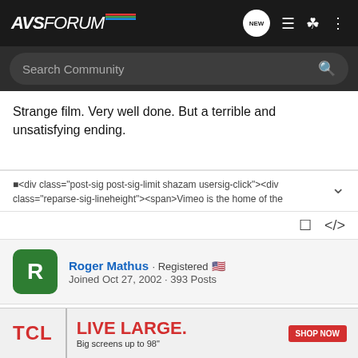AVSForum — Search Community
Strange film. Very well done. But a terrible and unsatisfying ending.
■<div class="post-sig post-sig-limit shazam usersig-click"><div class="reparse-sig-lineheight"><span>Vimeo is the home of the
Roger Mathus · Registered 🇺🇸
Joined Oct 27, 2002 · 393 Posts
#2 · Dec 8, 2002
■Sorry t... that
[Figure (screenshot): TCL advertisement banner: 'LIVE LARGE. Big screens up to 98" SHOP NOW']